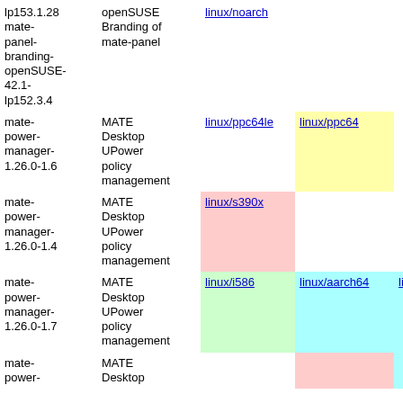| Package | Description | Arch1 | Arch2 | Arch3 |
| --- | --- | --- | --- | --- |
| lp153.1.28
mate-panel-branding-openSUSE-42.1-lp152.3.4 | openSUSE Branding of mate-panel | linux/noarch |  |  |
| mate-power-manager-1.26.0-1.6 | MATE Desktop UPower policy management | linux/ppc64le | linux/ppc64 |  |
| mate-power-manager-1.26.0-1.4 | MATE Desktop UPower policy management | linux/s390x |  |  |
| mate-power-manager-1.26.0-1.7 | MATE Desktop UPower policy management | linux/i586 | linux/aarch64 | linux/armv6h… |
| mate-power-… | MATE Desktop |  |  |  |